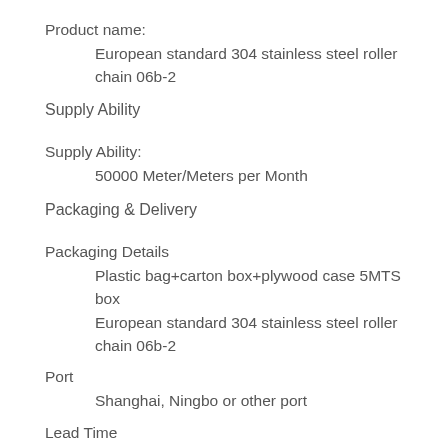Product name:
European standard 304 stainless steel roller chain 06b-2
Supply Ability
Supply Ability:
50000 Meter/Meters per Month
Packaging & Delivery
Packaging Details
Plastic bag+carton box+plywood case 5MTS box
European standard 304 stainless steel roller chain 06b-2
Port
Shanghai, Ningbo or other port
Lead Time